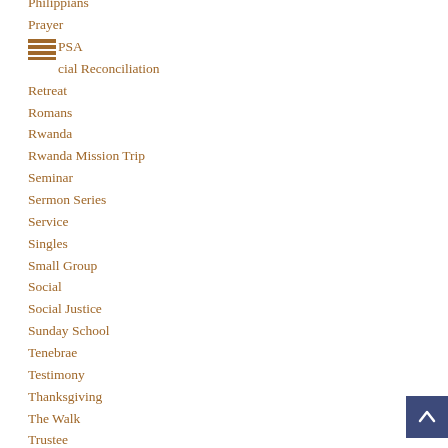Philippians
Prayer
PSA
Racial Reconciliation
Retreat
Romans
Rwanda
Rwanda Mission Trip
Seminar
Sermon Series
Service
Singles
Small Group
Social
Social Justice
Sunday School
Tenebrae
Testimony
Thanksgiving
The Walk
Trustee